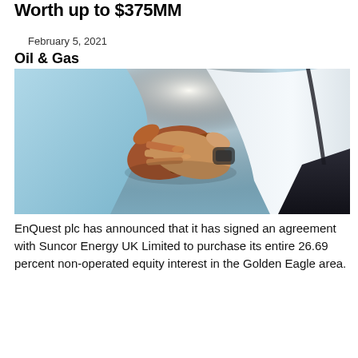Worth up to $375MM
February 5, 2021
Oil & Gas
[Figure (photo): Two people shaking hands, symbolizing a business agreement. One person wears a light blue sleeve, the other wears a white dress shirt. Bright backlit background.]
EnQuest plc has announced that it has signed an agreement with Suncor Energy UK Limited to purchase its entire 26.69 percent non-operated equity interest in the Golden Eagle area.